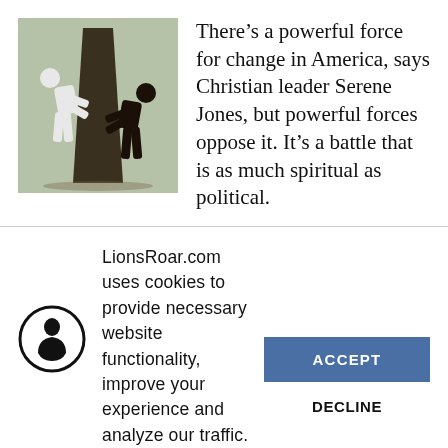[Figure (illustration): Two silhouette figures pushing against opposite sides of a large stone or block structure — one white figure on the left, one dark figure on the right, suggesting opposing forces.]
There’s a powerful force for change in America, says Christian leader Serene Jones, but powerful forces oppose it. It’s a battle that is as much spiritual as political.
[Figure (logo): Circular logo with a stylized figure silhouette inside, resembling a person in meditation or seated posture.]
LionsRoar.com uses cookies to provide necessary website functionality, improve your experience and analyze our traffic. By using our website, you agree to our Privacy Policy and our cookies usage.
ACCEPT
DECLINE